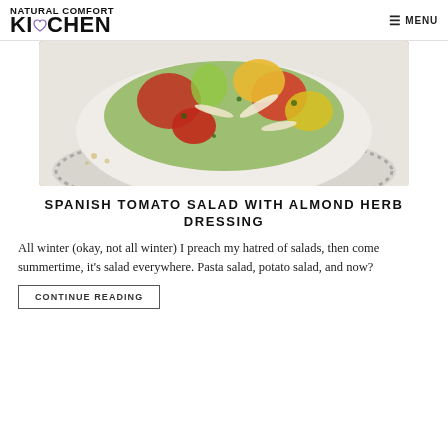NATURAL COMFORT KITCHEN ☰ MENU
[Figure (photo): Overhead close-up photo of a bowl of Spanish tomato salad with colorful heirloom tomatoes, almond herb dressing, herbs, and sliced almonds on a decorative plate with a dotted rim.]
SPANISH TOMATO SALAD WITH ALMOND HERB DRESSING
All winter (okay, not all winter) I preach my hatred of salads, then come summertime, it's salad everywhere. Pasta salad, potato salad, and now?
CONTINUE READING